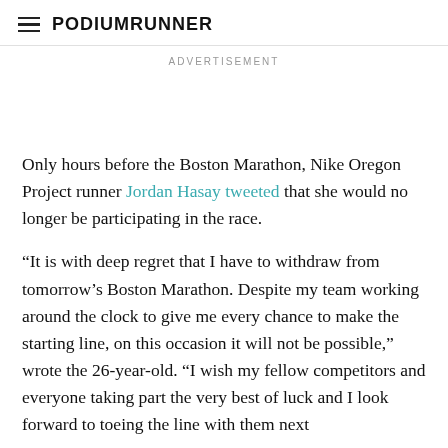PodiumRunner
ADVERTISEMENT
Only hours before the Boston Marathon, Nike Oregon Project runner Jordan Hasay tweeted that she would no longer be participating in the race.
“It is with deep regret that I have to withdraw from tomorrow’s Boston Marathon. Despite my team working around the clock to give me every chance to make the starting line, on this occasion it will not be possible,” wrote the 26-year-old. “I wish my fellow competitors and everyone taking part the very best of luck and I look forward to toeing the line with them next